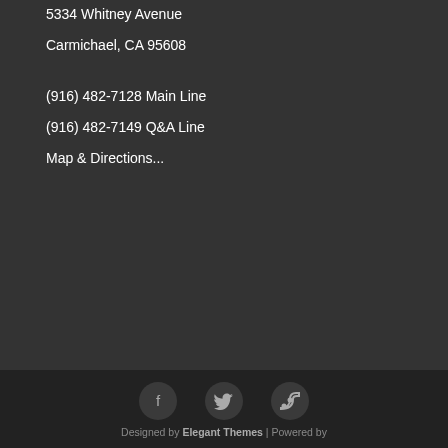5334 Whitney Avenue
Carmichael, CA 95608
(916) 482-7128 Main Line
(916) 482-7149 Q&A Line
Map & Directions...
[Figure (infographic): Social media icons: Facebook (f), Twitter (bird), RSS feed icons in dark circular buttons]
Designed by Elegant Themes | Powered by WordPress